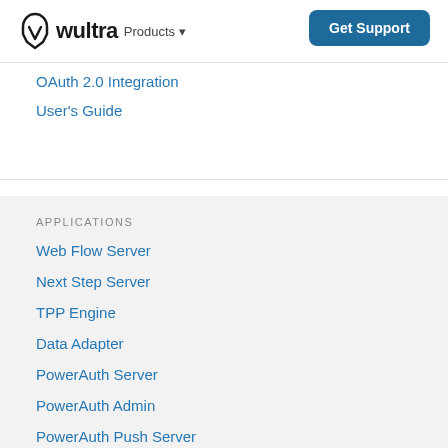wultra Products · Get Support
OAuth 2.0 Integration
User's Guide
APPLICATIONS
Web Flow Server
Next Step Server
TPP Engine
Data Adapter
PowerAuth Server
PowerAuth Admin
PowerAuth Push Server